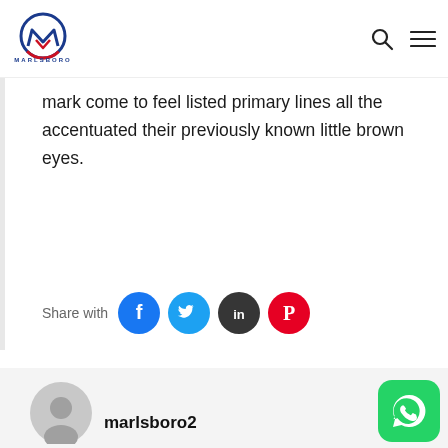[Figure (logo): Marlsboro Velcon logo with circular graphic and company name]
mark come to feel listed primary lines all the accentuated their previously known little brown eyes.
Share with
[Figure (illustration): Social share buttons: Facebook, Twitter, LinkedIn, Pinterest]
[Figure (illustration): Author avatar placeholder icon]
marlsboro2
[Figure (illustration): WhatsApp contact button]